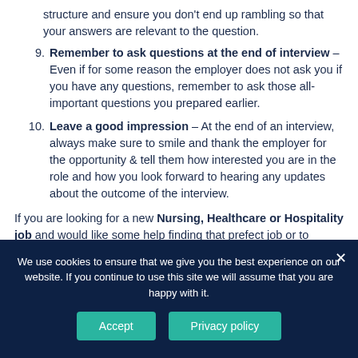structure and ensure you don't end up rambling so that your answers are relevant to the question.
9. Remember to ask questions at the end of interview – Even if for some reason the employer does not ask you if you have any questions, remember to ask those all-important questions you prepared earlier.
10. Leave a good impression – At the end of an interview, always make sure to smile and thank the employer for the opportunity & tell them how interested you are in the role and how you look forward to hearing any updates about the outcome of the interview.
If you are looking for a new Nursing, Healthcare or Hospitality job and would like some help finding that prefect job or to spruce up your CV & arrange some
We use cookies to ensure that we give you the best experience on our website. If you continue to use this site we will assume that you are happy with it.